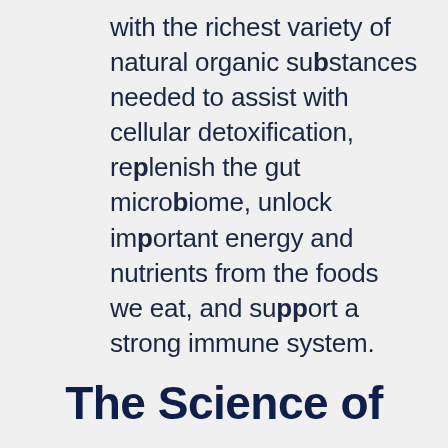with the richest variety of natural organic substances needed to assist with cellular detoxification, replenish the gut microbiome, unlock important energy and nutrients from the foods we eat, and support a strong immune system.
The Science of